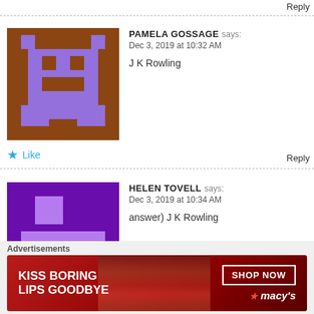Reply
PAMELA GOSSAGE says: Dec 3, 2019 at 10:32 AM
J K Rowling
Like
Reply
HELEN TOVELL says: Dec 3, 2019 at 10:34 AM
answer) J K Rowling
Like
Reply
Advertisements
[Figure (photo): Macy's advertisement banner: KISS BORING LIPS GOODBYE with SHOP NOW button and Macy's logo]